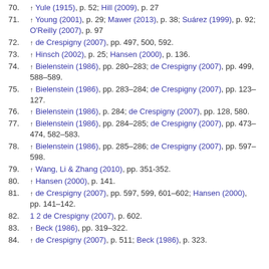70. ↑ Yule (1915), p. 52; Hill (2009), p. 27
71. ↑ Young (2001), p. 29; Mawer (2013), p. 38; Suárez (1999), p. 92; O'Reilly (2007), p. 97
72. ↑ de Crespigny (2007), pp. 497, 500, 592.
73. ↑ Hinsch (2002), p. 25; Hansen (2000), p. 136.
74. ↑ Bielenstein (1986), pp. 280–283; de Crespigny (2007), pp. 499, 588–589.
75. ↑ Bielenstein (1986), pp. 283–284; de Crespigny (2007), pp. 123–127.
76. ↑ Bielenstein (1986), p. 284; de Crespigny (2007), pp. 128, 580.
77. ↑ Bielenstein (1986), pp. 284–285; de Crespigny (2007), pp. 473–474, 582–583.
78. ↑ Bielenstein (1986), pp. 285–286; de Crespigny (2007), pp. 597–598.
79. ↑ Wang, Li & Zhang (2010), pp. 351-352.
80. ↑ Hansen (2000), p. 141.
81. ↑ de Crespigny (2007), pp. 597, 599, 601–602; Hansen (2000), pp. 141–142.
82. 1 2 de Crespigny (2007), p. 602.
83. ↑ Beck (1986), pp. 319–322.
84. ↑ de Crespigny (2007), p. 511; Beck (1986), p. 323.